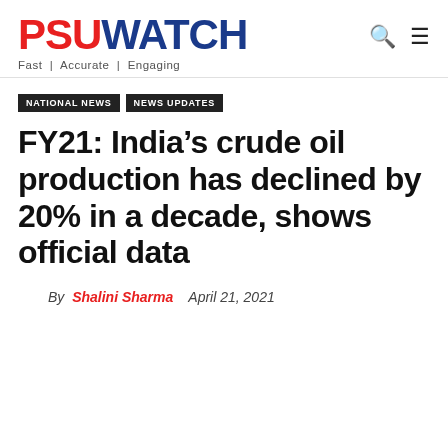PSUWATCH — Fast | Accurate | Engaging
NATIONAL NEWS | NEWS UPDATES
FY21: India’s crude oil production has declined by 20% in a decade, shows official data
By Shalini Sharma   April 21, 2021